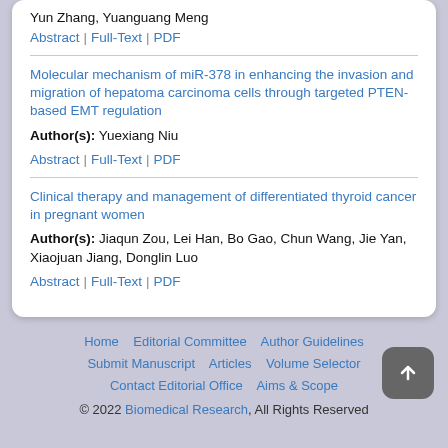Yun Zhang, Yuanguang Meng
Abstract | Full-Text | PDF
Molecular mechanism of miR-378 in enhancing the invasion and migration of hepatoma carcinoma cells through targeted PTEN-based EMT regulation
Author(s): Yuexiang Niu
Abstract | Full-Text | PDF
Clinical therapy and management of differentiated thyroid cancer in pregnant women
Author(s): Jiaqun Zou, Lei Han, Bo Gao, Chun Wang, Jie Yan, Xiaojuan Jiang, Donglin Luo
Abstract | Full-Text | PDF
Home  Editorial Committee  Author Guidelines  Submit Manuscript  Articles  Volume Selector  Contact Editorial Office  Aims & Scope  © 2022 Biomedical Research, All Rights Reserved